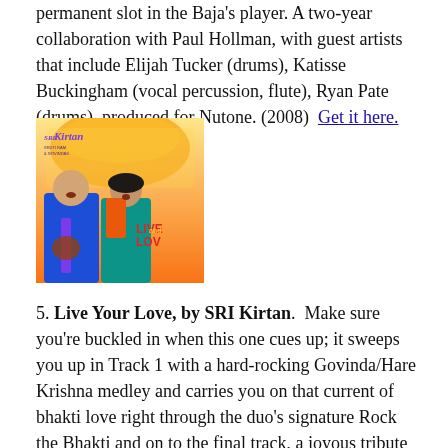permanent slot in the Baja's player. A two-year collaboration with Paul Hollman, with guest artists that include Elijah Tucker (drums), Katisse Buckingham (vocal percussion, flute), Ryan Pate (drums), produced for Nutone. (2008)  Get it here.
[Figure (photo): Album cover for 'Live Your Love' by SRI Kirtan featuring two musicians singing, with colorful devotional imagery in the background. Text reads 'SRI Kirtan' and 'LIVE and LOVE'.]
5. Live Your Love, by SRI Kirtan. Make sure you're buckled in when this one cues up; it sweeps you up in Track 1 with a hard-rocking Govinda/Hare Krishna medley and carries you on that current of bhakti love right through the duo's signature Rock the Bhakti and on to the final track, a joyous tribute to the sacred Ganges River. SRI Kirtan is the fusion of Sruti Ram and